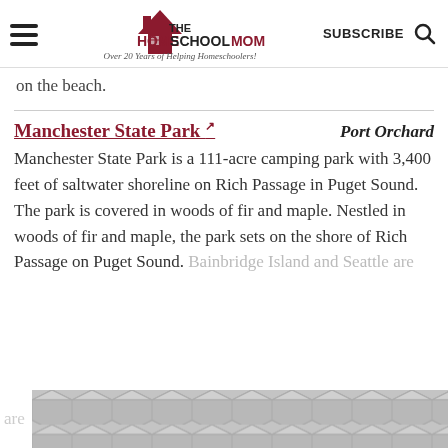THE HOMESCHOOL MOM - Over 20 Years of Helping Homeschoolers! | SUBSCRIBE
on the beach.
Manchester State Park  Port Orchard
Manchester State Park is a 111-acre camping park with 3,400 feet of saltwater shoreline on Rich Passage in Puget Sound. The park is covered in woods of fir and maple. Nestled in woods of fir and maple, the park sets on the shore of Rich Passage on Puget Sound. Bainbridge Island and Seattle are
[Figure (other): Advertisement banner with grey geometric hexagon pattern]